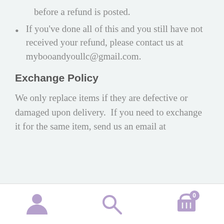before a refund is posted.
If you've done all of this and you still have not received your refund, please contact us at mybooandyoullc@gmail.com.
Exchange Policy
We only replace items if they are defective or damaged upon delivery.  If you need to exchange it for the same item, send us an email at
Navigation bar with user, search, and cart icons